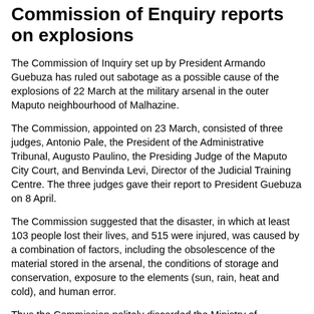Commission of Enquiry reports on explosions
The Commission of Inquiry set up by President Armando Guebuza has ruled out sabotage as a possible cause of the explosions of 22 March at the military arsenal in the outer Maputo neighbourhood of Malhazine.
The Commission, appointed on 23 March, consisted of three judges, Antonio Pale, the President of the Administrative Tribunal, Augusto Paulino, the Presiding Judge of the Maputo City Court, and Benvinda Levi, Director of the Judicial Training Centre. The three judges gave their report to President Guebuza on 8 April.
The Commission suggested that the disaster, in which at least 103 people lost their lives, and 515 were injured, was caused by a combination of factors, including the obsolescence of the material stored in the arsenal, the conditions of storage and conservation, exposure to the elements (sun, rain, heat and cold), and human error.
Thus the Commission politely discarded the Ministry of Defence's immediate explanation that the arsenal blew up because 22 March was a hot day.